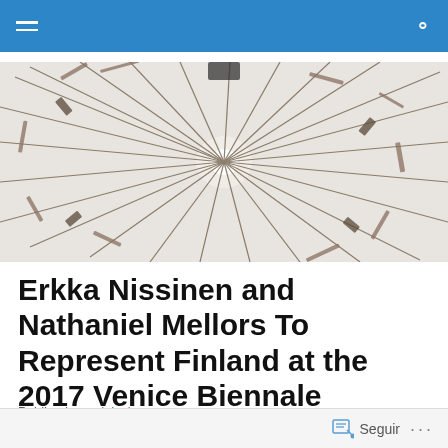[Figure (photo): Aerial/overhead photograph of a large radial burst installation of tools and objects (saws, brackets, rods, etc.) arranged in a starburst/explosion pattern on a white background, as seen from directly above.]
Erkka Nissinen and Nathaniel Mellors To Represent Finland at the 2017 Venice Biennale
Publicado por lalaclau
Seguir ...